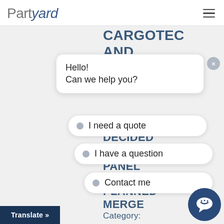PartYard — navigation header with hamburger menu
[Figure (screenshot): Website screenshot showing PartYard logo header, background text 'CARGOTEC AND KONECRANES AND', a chat widget with greeting 'Hello! Can we help you?' and three options: 'I need a quote', 'I have a question', 'Contact me', partially overlaid with background text 'DECIDED', 'PANEL', 'PLANNED MERGE', 'Category:', a chat bubble icon, and a Translate button.]
CARGOTEC AND KONECRANES AND
Hello!
Can we help you?
I need a quote
I have a question
Contact me
DECIDED
PANEL
PLANNED MERGE
Category:
Translate »